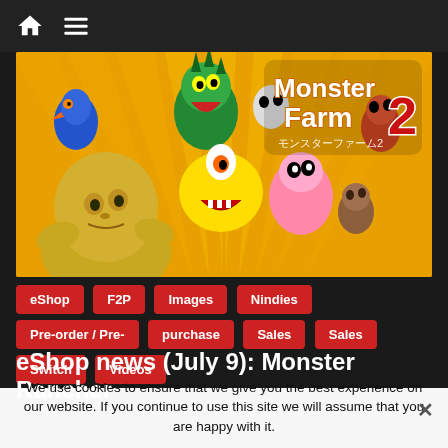Navigation bar with home and menu icons
[Figure (illustration): Monster Farm 2 promotional banner image showing various colorful fantasy monsters on an orange/yellow background with the Monster Farm 2 logo in the top right]
eShop
F2P
Images
Nindies
Pre-order / Pre-purchase
Sales
Sales
Switch
Videos
eShop news (July 9): Monster Rancher 2, Retromana Wrestling
We use cookies to ensure that we give you the best experience on our website. If you continue to use this site we will assume that you are happy with it.
I understand   Privacy policy
9 July 2020 · Lite Agent · Blue Mammoth, Brewirene, eastasiasoft, Forever Entertainment, Rock-Tecno, Monster Rancher 2, One Finger Death Punch 2, One-Hand-Free-Studios, Rainy Frog,